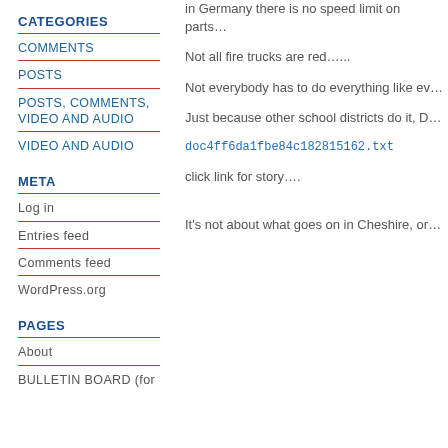CATEGORIES
COMMENTS
POSTS
POSTS, COMMENTS, VIDEO AND AUDIO
VIDEO AND AUDIO
META
Log in
Entries feed
Comments feed
WordPress.org
PAGES
About
BULLETIN BOARD (for
in Germany there is no speed limit on parts…
Not all fire trucks are red…...
Not everybody has to do everything like ev…
Just because other school districts do it, D…
doc4ff6da1fbe84c182815162.txt
click link for story….
It's not about what goes on in Cheshire, or…